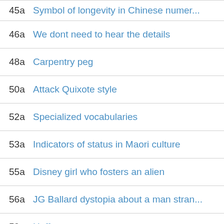45a Symbol of longevity in Chinese numer...
46a We dont need to hear the details
48a Carpentry peg
50a Attack Quixote style
52a Specialized vocabularies
53a Indicators of status in Maori culture
55a Disney girl who fosters an alien
56a JG Ballard dystopia about a man stran...
59a Huff
60a Agreement